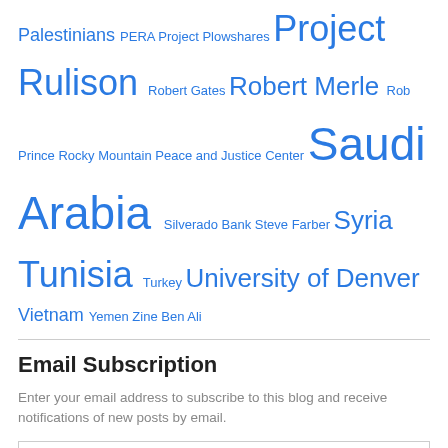Palestinians PERA Project Plowshares Project Rulison Robert Gates Robert Merle Rob Prince Rocky Mountain Peace and Justice Center Saudi Arabia Silverado Bank Steve Farber Syria Tunisia Turkey University of Denver Vietnam Yemen Zine Ben Ali
Email Subscription
Enter your email address to subscribe to this blog and receive notifications of new posts by email.
Enter your email address
Sign me up!
Join 691 other followers
CPJN Blog RSS Feed